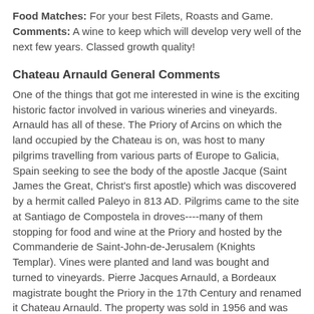Food Matches: For your best Filets, Roasts and Game. Comments: A wine to keep which will develop very well of the next few years. Classed growth quality!
Chateau Arnauld General Comments
One of the things that got me interested in wine is the exciting historic factor involved in various wineries and vineyards. Arnauld has all of these. The Priory of Arcins on which the land occupied by the Chateau is on, was host to many pilgrims travelling from various parts of Europe to Galicia, Spain seeking to see the body of the apostle Jacque (Saint James the Great, Christ's first apostle) which was discovered by a hermit called Paleyo in 813 AD. Pilgrims came to the site at Santiago de Compostela in droves----many of them stopping for food and wine at the Priory and hosted by the Commanderie de Saint-John-de-Jerusalem (Knights Templar). Vines were planted and land was bought and turned to vineyards. Pierre Jacques Arnauld, a Bordeaux magistrate bought the Priory in the 17th Century and renamed it Chateau Arnauld. The property was sold in 1956 and was finally acquired by an international insurance company called Allianz in 2007 where much renovation and